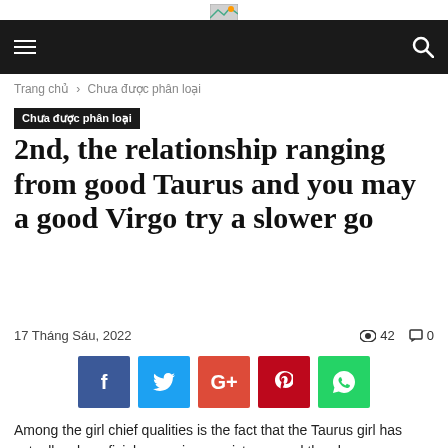≡  [logo]  🔍
Trang chủ › Chưa được phân loại
Chưa được phân loại
2nd, the relationship ranging from good Taurus and you may a good Virgo try a slower go
17 Tháng Sáu, 2022   👁 42   💬 0
[Figure (infographic): Social share buttons: Facebook, Twitter, Google+, Pinterest, WhatsApp]
Among the girl chief qualities is the fact that the Taurus girl has actually a beneficial sovereign persistence and they have are...